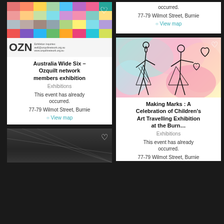[Figure (photo): Australia Wide Six Ozquilt exhibition poster with quilt grid images]
Australia Wide Six – Ozquilt network members exhibition
Exhibitions
This event has already occurred.
77-79 Wilmot Street, Burnie
View map
This event has already occurred.
77-79 Wilmot Street, Burnie
View map
[Figure (photo): Making Marks children's art exhibition illustration with figures and hearts]
Making Marks : A Celebration of Children's Art Travelling Exhibition at the Burn…
Exhibitions
This event has already occurred.
77-79 Wilmot Street, Burnie
[Figure (photo): Dark interior architectural photo, partially visible]